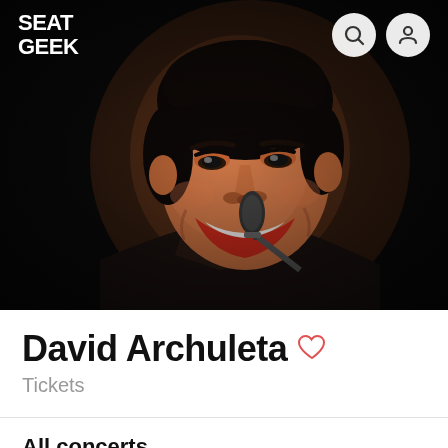SEAT GEEK
[Figure (photo): Young male singer smiling and performing into a microphone, wearing a black jacket, dark background.]
David Archuleta
Tickets
All concerts
No concerts
SeatGeek Buyer Guarantee